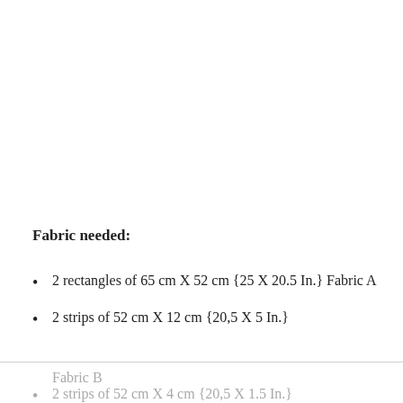Fabric needed:
2 rectangles of 65 cm X 52 cm {25 X 20.5 In.} Fabric A
2 strips of 52 cm X 12 cm {20,5 X 5 In.} Fabric B
2 strips of 52 cm X 4 cm {20,5 X 1.5 In.}